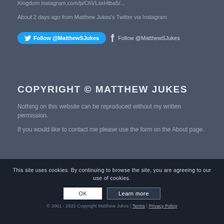Kingdom instagram.com/p/ChVLsxHtba5/...
About 2 days ago from Matthew Jukes's Twitter via Instagram
Follow @MatthewSJukes  Follow @MatthewSJukes
COPYRIGHT © MATTHEW JUKES
Nothing on this website can be reproduced without my written permission.
If you would like to contact me please use the form on the About page.
This site uses cookies. By continuing to browse the site, you are agreeing to our use of cookies.
OK   Learn more
© 2001 - 2022 Copyright Matthew Jukes | Terms | Privacy Policy